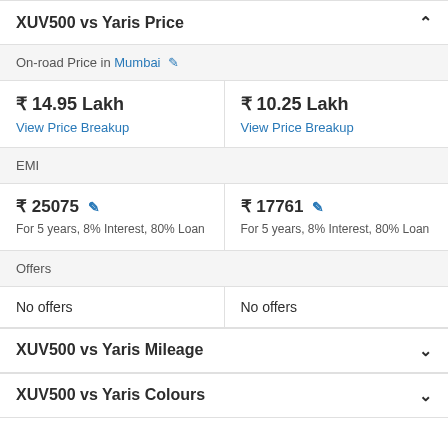XUV500 vs Yaris Price
On-road Price in Mumbai
| XUV500 | Yaris |
| --- | --- |
| ₹ 14.95 Lakh
View Price Breakup | ₹ 10.25 Lakh
View Price Breakup |
EMI
| XUV500 EMI | Yaris EMI |
| --- | --- |
| ₹ 25075
For 5 years, 8% Interest, 80% Loan | ₹ 17761
For 5 years, 8% Interest, 80% Loan |
Offers
| XUV500 Offers | Yaris Offers |
| --- | --- |
| No offers | No offers |
XUV500 vs Yaris Mileage
XUV500 vs Yaris Colours